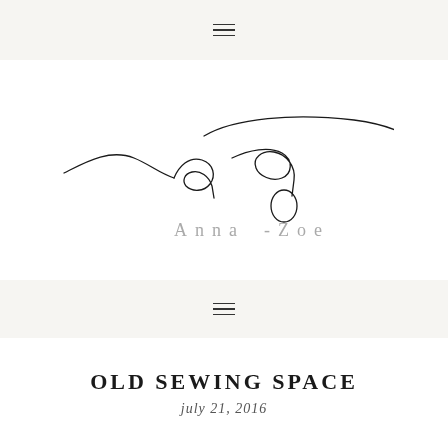≡
[Figure (logo): Anna-Zoe handwritten script logo with cursive 'az' lettering above 'Anna-Zoe' text in light gray serif font]
≡
OLD SEWING SPACE
july 21, 2016